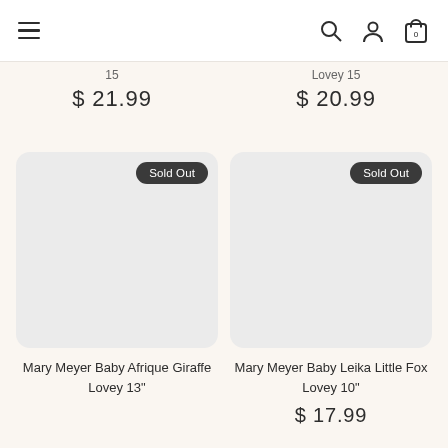Navigation bar with hamburger menu, search, user, and cart (0) icons
15  $ 21.99
Lovey 15  $ 20.99
[Figure (screenshot): Product card with light gray rounded rectangle placeholder image, 'Sold Out' dark badge top-right]
Mary Meyer Baby Afrique Giraffe Lovey 13"
[Figure (screenshot): Product card with light gray rounded rectangle placeholder image, 'Sold Out' dark badge top-right]
Mary Meyer Baby Leika Little Fox Lovey 10"
$ 17.99